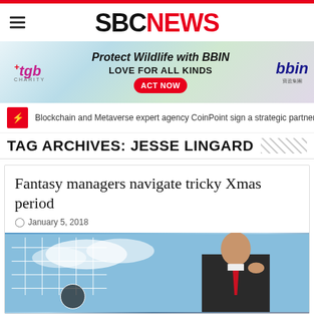SBC NEWS
[Figure (illustration): BBIN charity advertisement banner: tgb Charity logo on left, 'Protect Wildlife with BBIN LOVE FOR ALL KINDS ACT NOW' text in center with wildlife imagery, bbin logo on right]
Blockchain and Metaverse expert agency CoinPoint sign a strategic partnershi
TAG ARCHIVES: JESSE LINGARD
Fantasy managers navigate tricky Xmas period
January 5, 2018
[Figure (photo): Photo showing a soccer goal net on the left with blue sky, and a person in a dark suit adjusting a red tie on the right]